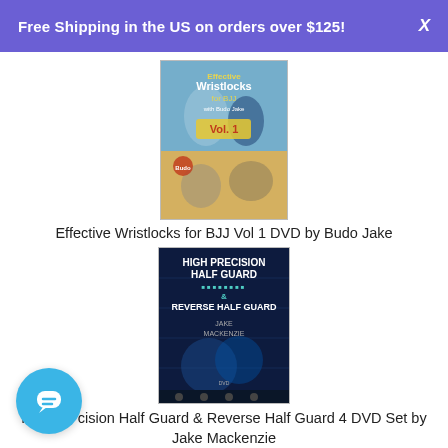Free Shipping in the US on orders over $125!
[Figure (photo): DVD cover for Effective Wristlocks for BJJ Vol 1 by Budo Jake, showing grappling techniques]
Effective Wristlocks for BJJ Vol 1 DVD by Budo Jake
[Figure (photo): DVD cover for High Precision Half Guard & Reverse Half Guard 4 DVD Set by Jake Mackenzie]
High Precision Half Guard & Reverse Half Guard 4 DVD Set by Jake Mackenzie
[Figure (photo): Partial DVD cover visible at bottom of page]